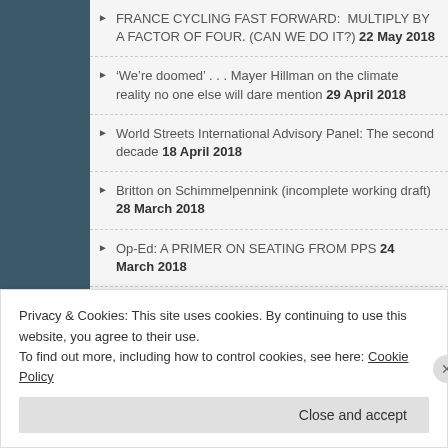FRANCE CYCLING FAST FORWARD:  MULTIPLY BY A FACTOR OF FOUR. (CAN WE DO IT?) 22 May 2018
'We're doomed' . . . Mayer Hillman on the climate reality no one else will dare mention 29 April 2018
World Streets International Advisory Panel: The second decade 18 April 2018
Britton on Schimmelpennink (incomplete working draft) 28 March 2018
Op-Ed: A PRIMER ON SEATING FROM PPS 24 March 2018
HOW MOBILE ARE WE AND HOW DID WE GET HERE? (Draft for comment for 2018 New Mobility Master Class.) 3 March 2018
Privacy & Cookies: This site uses cookies. By continuing to use this website, you agree to their use.
To find out more, including how to control cookies, see here: Cookie Policy
Close and accept